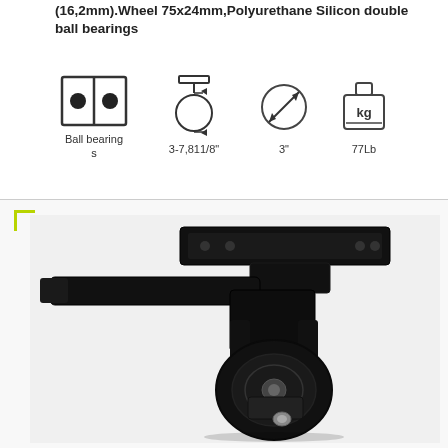(16,2mm).Wheel 75x24mm,Polyurethane Silicon double ball bearings
[Figure (infographic): Product specification icons: ball bearings icon, swivel caster icon, 3-inch wheel size icon, weight capacity icon. Labels: Ball bearings, 3-7,811/8", 3", 77Lb]
[Figure (photo): Black industrial swivel caster wheel with top plate mounting and brake/lock lever, shown from a three-quarter angle. The caster has a polyurethane wheel with double ball bearings and a total lock brake mechanism.]